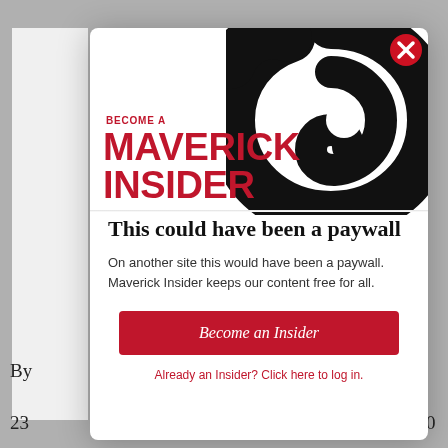[Figure (screenshot): A modal popup for 'Become a Maverick Insider' membership. Shows a large black swirl/eye logo in the top right corner of the modal. Red bold text reads 'BECOME A MAVERICK INSIDER'. Below is a heading 'This could have been a paywall', body text 'On another site this would have been a paywall. Maverick Insider keeps our content free for all.', a red 'Become an Insider' button, and a red link 'Already an Insider? Click here to log in.' Behind the modal is a partially visible article page.]